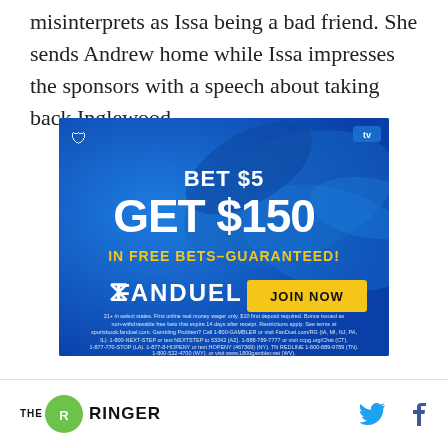misinterprets as Issa being a bad friend. She sends Andrew home while Issa impresses the sponsors with a speech about taking back Inglewood.
[Figure (infographic): FanDuel advertisement: 'BET $5 GET $150 IN FREE BETS–GUARANTEED!' with JOIN NOW button and FanDuel logo on blue swirl background. Fine print with gambling disclaimer and helpline numbers.]
THE RINGER [logo] [Twitter icon] [Facebook icon]